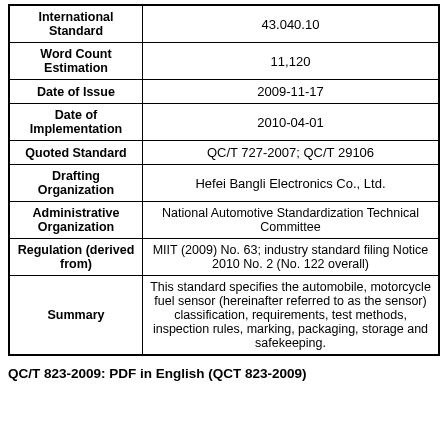| Field | Value |
| --- | --- |
| International Standard | 43.040.10 |
| Word Count Estimation | 11,120 |
| Date of Issue | 2009-11-17 |
| Date of Implementation | 2010-04-01 |
| Quoted Standard | QC/T 727-2007; QC/T 29106 |
| Drafting Organization | Hefei Bangli Electronics Co., Ltd. |
| Administrative Organization | National Automotive Standardization Technical Committee |
| Regulation (derived from) | MIIT (2009) No. 63; industry standard filing Notice 2010 No. 2 (No. 122 overall) |
| Summary | This standard specifies the automobile, motorcycle fuel sensor (hereinafter referred to as the sensor) classification, requirements, test methods, inspection rules, marking, packaging, storage and safekeeping. |
QC/T 823-2009: PDF in English (QCT 823-2009)